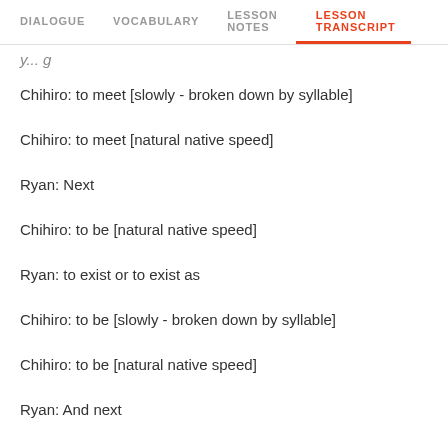DIALOGUE  VOCABULARY  LESSON NOTES  LESSON TRANSCRIPT
y...g
Chihiro: to meet [slowly - broken down by syllable]
Chihiro: to meet [natural native speed]
Ryan: Next
Chihiro: to be [natural native speed]
Ryan: to exist or to exist as
Chihiro: to be [slowly - broken down by syllable]
Chihiro: to be [natural native speed]
Ryan: And next